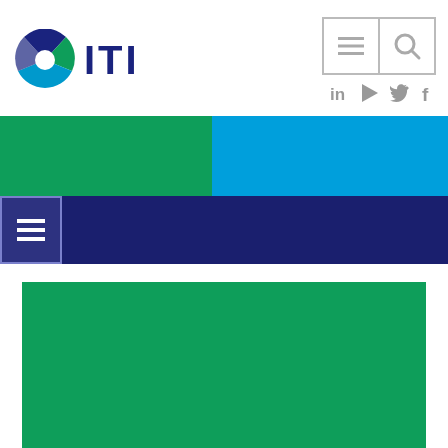[Figure (logo): ITI organization logo with globe icon and ITI text in navy blue]
[Figure (infographic): Navigation bar icons: hamburger menu icon and search icon in gray bordered boxes, with social media icons (LinkedIn, play, Twitter, Facebook) in gray below]
[Figure (infographic): Two-tone horizontal band: green on left half, bright blue on right half]
[Figure (infographic): Navy blue navigation bar with white hamburger menu icon in a bordered box on left]
[Figure (infographic): Large solid green rectangle block]